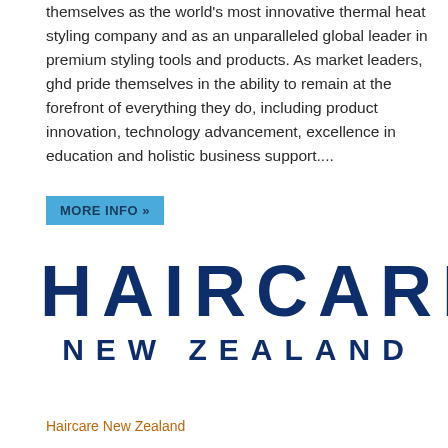themselves as the world's most innovative thermal heat styling company and as an unparalleled global leader in premium styling tools and products. As market leaders, ghd pride themselves in the ability to remain at the forefront of everything they do, including product innovation, technology advancement, excellence in education and holistic business support....
MORE INFO »
[Figure (logo): Haircare New Zealand logo — large bold dark navy text reading HAIRCARE on top line and NEW ZEALAND on second line]
Haircare New Zealand